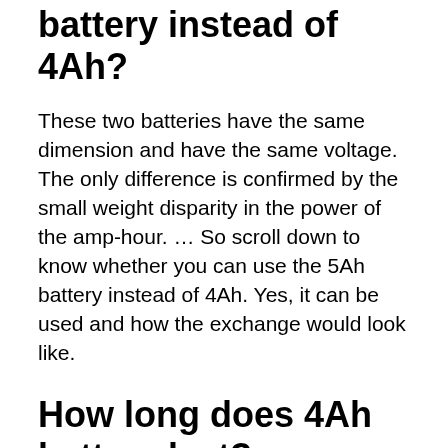battery instead of 4Ah?
These two batteries have the same dimension and have the same voltage. The only difference is confirmed by the small weight disparity in the power of the amp-hour. … So scroll down to know whether you can use the 5Ah battery instead of 4Ah. Yes, it can be used and how the exchange would look like.
How long does 4Ah battery last?
A brand new 4Ah battery might be able to power a 0.2 amp appliance for 20 hours, but one that has been discharged and recharged many times will last a shorter period.